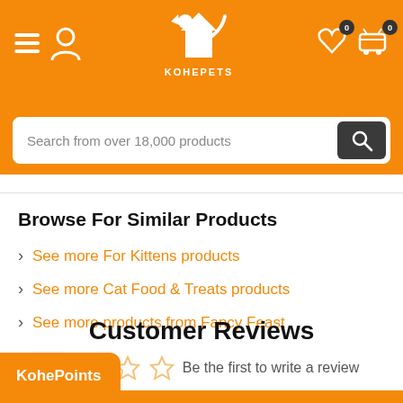[Figure (logo): KohePets logo with dog silhouette on orange header bar, hamburger menu, user icon, heart and cart icons with 0 badges]
Search from over 18,000 products
Browse For Similar Products
See more For Kittens products
See more Cat Food & Treats products
See more products from Fancy Feast
Customer Reviews
Be the first to write a review
KohePoints